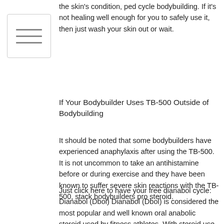[Figure (other): Menu icon: a box with three horizontal lines (hamburger menu icon)]
the skin's condition, ped cycle bodybuilding. If it's not healing well enough for you to safely use it, then just wash your skin out or wait.
If Your Bodybuilder Uses TB-500 Outside of Bodybuilding
It should be noted that some bodybuilders have experienced anaphylaxis after using the TB-500. It is not uncommon to take an antihistamine before or during exercise and they have been known to suffer severe skin reactions with the TB-500, stack bodybuilders pro steroid.
Just click here to have your free dianabol cycle: Dianabol (Dbol) Dianabol (Dbol) is considered the most popular and well known oral anabolic steroid used by fitness athletes. With steroid use comes many different health